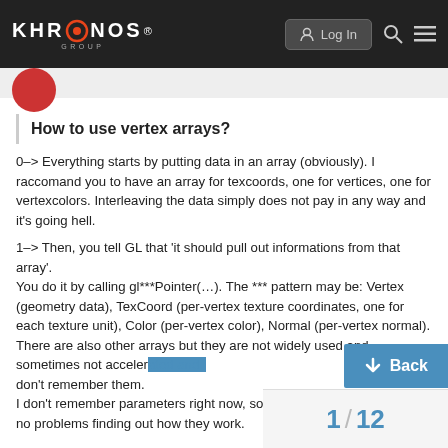KHRONOS GROUP — Log In
How to use vertex arrays?
0–> Everything starts by putting data in an array (obviously). I raccomand you to have an array for texcoords, one for vertices, one for vertexcolors. Interleaving the data simply does not pay in any way and it's going hell.
1–> Then, you tell GL that 'it should pull out informations from that array'.
You do it by calling gl***Pointer(…). The *** pattern may be: Vertex (geometry data), TexCoord (per-vertex texture coordinates, one for each texture unit), Color (per-vertex color), Normal (per-vertex normal). There are also other arrays but they are not widely used and sometimes not acceler[ated], don't remember them.
I don't remember parameters right now, so[...] no problems finding out how they work.
1 / 12